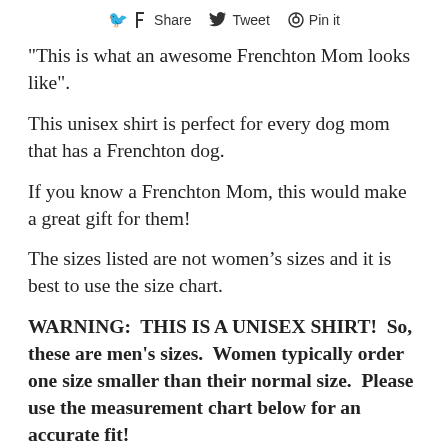Share  Tweet  Pin it
"This is what an awesome Frenchton Mom looks like".
This unisex shirt is perfect for every dog mom that has a Frenchton dog.
If you know a Frenchton Mom, this would make a great gift for them!
The sizes listed are not women’s sizes and it is best to use the size chart.
WARNING:  THIS IS A UNISEX SHIRT!  So, these are men's sizes.  Women typically order one size smaller than their normal size.  Please use the measurement chart below for an accurate fit!